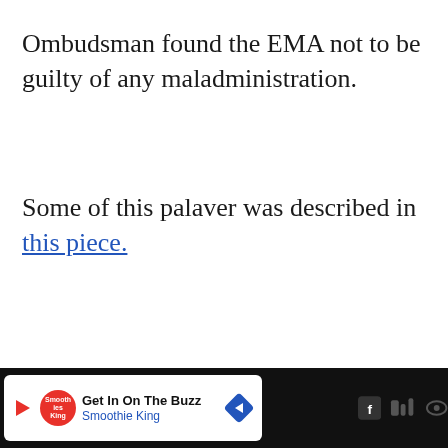Ombudsman found the EMA not to be guilty of any maladministration.
Some of this palaver was described in this piece.
The piece above pre-dates the Ombudsman complaint and decision
Don't miss each new article!
Email Address *
[Figure (screenshot): Advertisement banner at the bottom: Get In On The Buzz - Smoothie King, with play button, logo, and navigation arrow icon. Social share widget with count 0 and share icon visible on right side.]